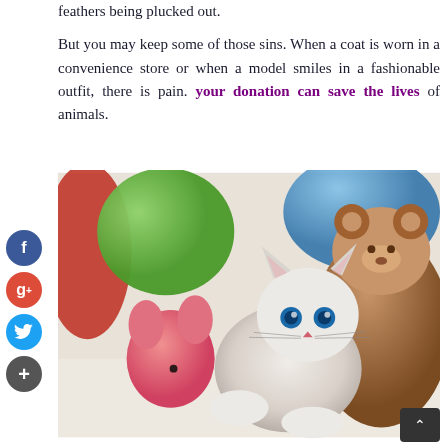feathers being plucked out.

But you may keep some of those sins. When a coat is worn in a convenience store or when a model smiles in a fashionable outfit, there is pain. your donation can save the lives of animals.
[Figure (photo): A white fluffy kitten with blue eyes lying on a light surface surrounded by a pink stuffed animal toy and a brown teddy bear, with colorful balls in the background.]